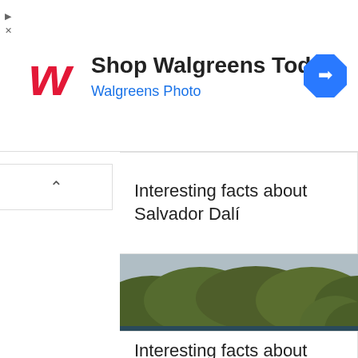[Figure (screenshot): Walgreens advertisement banner with red cursive W logo, 'Shop Walgreens Today' headline, 'Walgreens Photo' subtitle in blue, and a blue diamond navigation arrow icon on the right]
Interesting facts about Salvador Dalí
[Figure (photo): Aerial photo of a bird taking flight over a calm river surrounded by dense green forest trees. Photo source: wallpaper (watermark in bottom right)]
Interesting facts about water